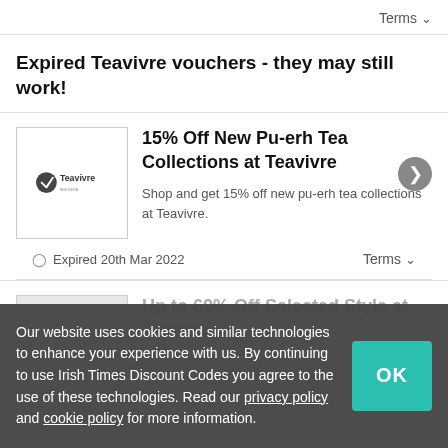Terms ∨
Expired Teavivre vouchers - they may still work!
15% Off New Pu-erh Tea Collections at Teavivre
Shop and get 15% off new pu-erh tea collections at Teavivre.
⏱ Expired 20th Mar 2022
Terms ∨
Up to 60% Off Selected Style at Teavivre
Our website uses cookies and similar technologies to enhance your experience with us. By continuing to use Irish Times Discount Codes you agree to the use of these technologies. Read our privacy policy and cookie policy for more information.